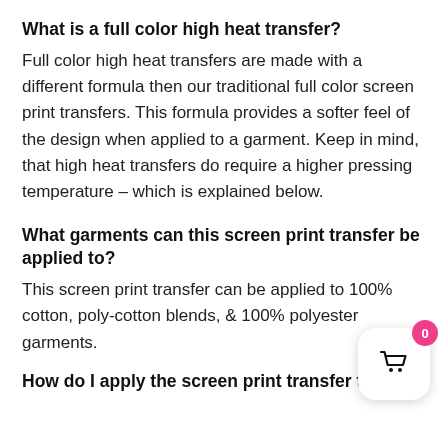What is a full color high heat transfer?
Full color high heat transfers are made with a different formula then our traditional full color screen print transfers. This formula provides a softer feel of the design when applied to a garment. Keep in mind, that high heat transfers do require a higher pressing temperature – which is explained below.
What garments can this screen print transfer be applied to?
This screen print transfer can be applied to 100% cotton, poly-cotton blends, & 100% polyester garments.
How do I apply the screen print transfer to my